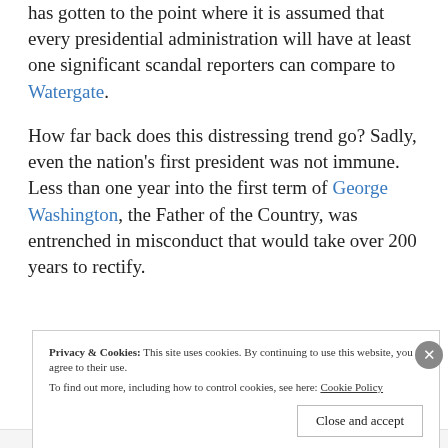has gotten to the point where it is assumed that every presidential administration will have at least one significant scandal reporters can compare to Watergate.
How far back does this distressing trend go? Sadly, even the nation's first president was not immune. Less than one year into the first term of George Washington, the Father of the Country, was entrenched in misconduct that would take over 200 years to rectify.
Privacy & Cookies: This site uses cookies. By continuing to use this website, you agree to their use. To find out more, including how to control cookies, see here: Cookie Policy